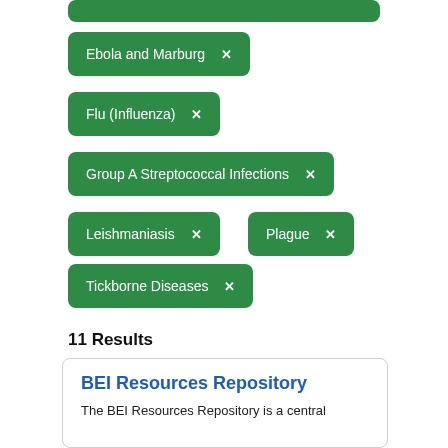Ebola and Marburg ×
Flu (Influenza) ×
Group A Streptococcal Infections ×
Leishmaniasis ×
Plague ×
Tickborne Diseases ×
11 Results
BEI Resources Repository
The BEI Resources Repository is a central